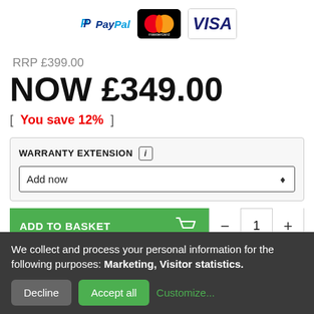[Figure (logo): PayPal, Mastercard, and Visa payment method logos]
RRP £399.00
NOW £349.00
[ You save 12% ]
WARRANTY EXTENSION
Add now
ADD TO BASKET
We collect and process your personal information for the following purposes: Marketing, Visitor statistics.
Decline   Accept all   Customize...